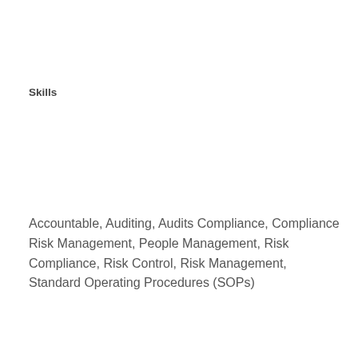Skills
Accountable, Auditing, Audits Compliance, Compliance Risk Management, People Management, Risk Compliance, Risk Control, Risk Management, Standard Operating Procedures (SOPs)